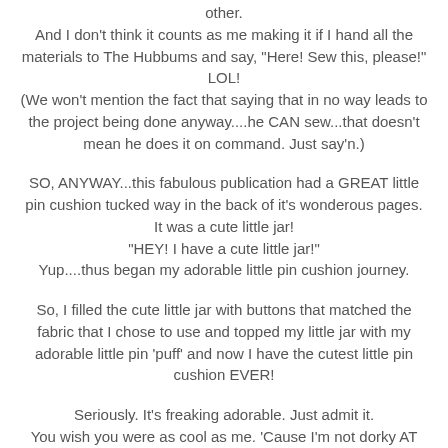other.
And I don't think it counts as me making it if I hand all the materials to The Hubbums and say, "Here! Sew this, please!" LOL!
(We won't mention the fact that saying that in no way leads to the project being done anyway....he CAN sew...that doesn't mean he does it on command. Just say'n.)
SO, ANYWAY...this fabulous publication had a GREAT little pin cushion tucked way in the back of it's wonderous pages. It was a cute little jar!
"HEY! I have a cute little jar!"
Yup....thus began my adorable little pin cushion journey.
So, I filled the cute little jar with buttons that matched the fabric that I chose to use and topped my little jar with my adorable little pin 'puff' and now I have the cutest little pin cushion EVER!
Seriously. It's freaking adorable. Just admit it.
You wish you were as cool as me. 'Cause I'm not dorky AT ALL!